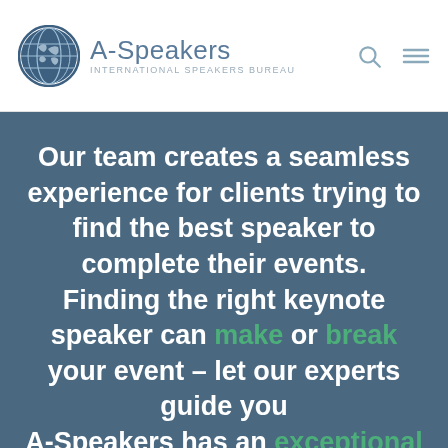[Figure (logo): A-Speakers International Speakers Bureau logo with globe icon]
Our team creates a seamless experience for clients trying to find the best speaker to complete their events. Finding the right keynote speaker can make or break your event – let our experts guide you A-Speakers has an exceptional